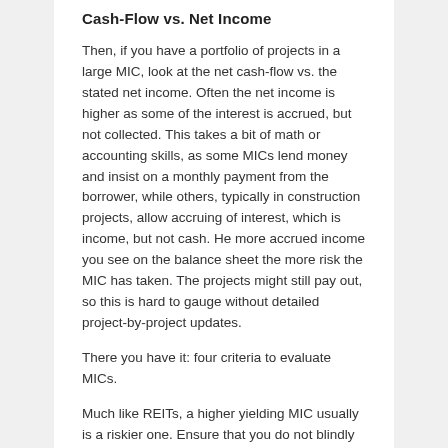Cash-Flow vs. Net Income
Then, if you have a portfolio of projects in a large MIC, look at the net cash-flow vs. the stated net income. Often the net income is higher as some of the interest is accrued, but not collected. This takes a bit of math or accounting skills, as some MICs lend money and insist on a monthly payment from the borrower, while others, typically in construction projects, allow accruing of interest, which is income, but not cash. He more accrued income you see on the balance sheet the more risk the MIC has taken. The projects might still pay out, so this is hard to gauge without detailed project-by-project updates.
There you have it: four criteria to evaluate MICs.
Much like REITs, a higher yielding MIC usually is a riskier one. Ensure that you do not blindly follow just the marketing brochures, but also look at the